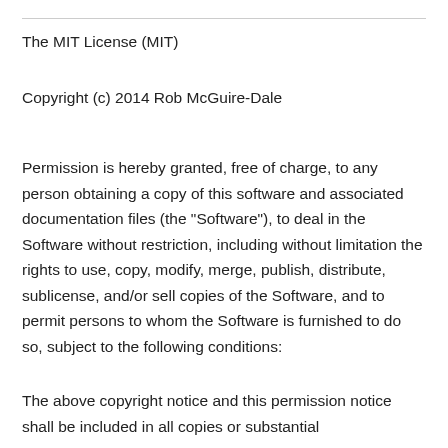The MIT License (MIT)
Copyright (c) 2014 Rob McGuire-Dale
Permission is hereby granted, free of charge, to any person obtaining a copy of this software and associated documentation files (the "Software"), to deal in the Software without restriction, including without limitation the rights to use, copy, modify, merge, publish, distribute, sublicense, and/or sell copies of the Software, and to permit persons to whom the Software is furnished to do so, subject to the following conditions:
The above copyright notice and this permission notice shall be included in all copies or substantial